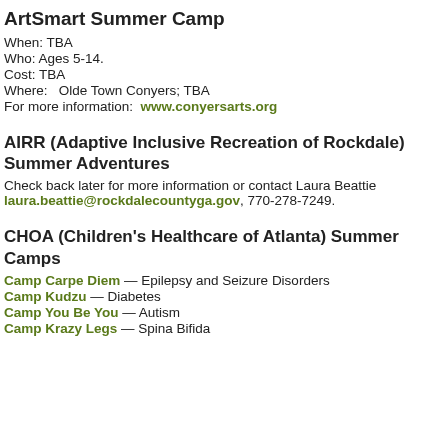ArtSmart Summer Camp
When: TBA
Who: Ages 5-14.
Cost: TBA
Where:   Olde Town Conyers; TBA
For more information:  www.conyersarts.org
AIRR (Adaptive Inclusive Recreation of Rockdale) Summer Adventures
Check back later for more information or contact Laura Beattie laura.beattie@rockdalecountyga.gov, 770-278-7249.
CHOA (Children's Healthcare of Atlanta) Summer Camps
Camp Carpe Diem — Epilepsy and Seizure Disorders
Camp Kudzu — Diabetes
Camp You Be You — Autism
Camp Krazy Legs — Spina Bifida